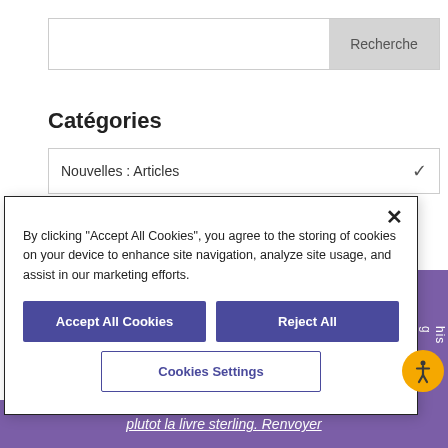[Figure (screenshot): Search bar with 'Recherche' button on the right]
Catégories
[Figure (screenshot): Dropdown selector showing 'Nouvelles : Articles' with chevron]
[Figure (screenshot): Cookie consent modal with Accept All Cookies, Reject All, and Cookies Settings buttons]
[Figure (screenshot): Accessibility icon (person in circle, yellow background)]
plutot la livre sterling. Renvoyer